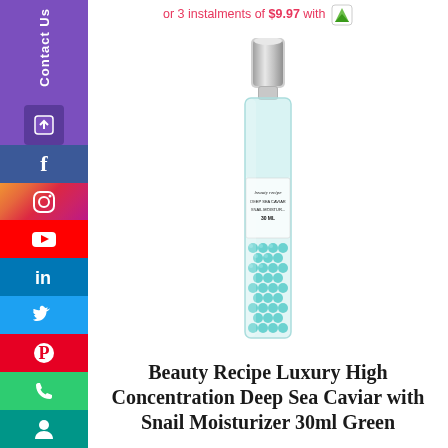or 3 instalments of $9.97 with
[Figure (photo): Beauty Recipe Luxury High Concentration Deep Sea Caviar with Snail Moisturizer 30ml Green product bottle - a tall narrow glass bottle with silver pump cap, containing teal/mint green pearl beads]
Beauty Recipe Luxury High Concentration Deep Sea Caviar with Snail Moisturizer 30ml Green